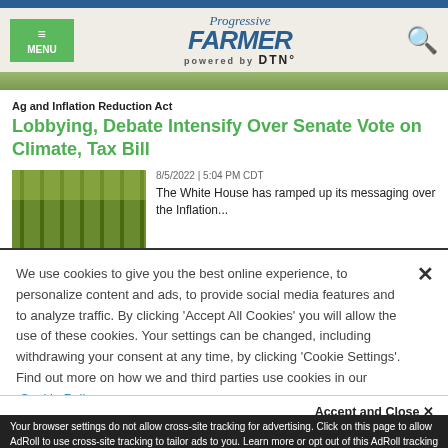Progressive FARMER powered by DTN
Ag and Inflation Reduction Act
Lobbying, Debate Intensify Over Senate Vote on Climate, Tax Bill
[Figure (photo): Crop rows aerial view thumbnail]
8/5/2022 | 5:04 PM CDT
The White House has ramped up its messaging over the Inflation...
We use cookies to give you the best online experience, to personalize content and ads, to provide social media features and to analyze traffic. By clicking 'Accept All Cookies' you will allow the use of these cookies. Your settings can be changed, including withdrawing your consent at any time, by clicking 'Cookie Settings'. Find out more on how we and third parties use cookies in our  Cookie Policy
Accept and Close ×
Your browser settings do not allow cross-site tracking for advertising. Click on this page to allow AdRoll to use cross-site tracking to tailor ads to you. Learn more or opt out of this AdRoll tracking by clicking here. This message only appears once.